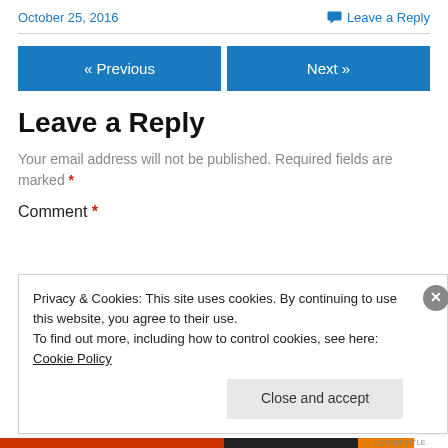October 25, 2016   Leave a Reply
« Previous   Next »
Leave a Reply
Your email address will not be published. Required fields are marked *
Comment *
Privacy & Cookies: This site uses cookies. By continuing to use this website, you agree to their use.
To find out more, including how to control cookies, see here: Cookie Policy
Close and accept